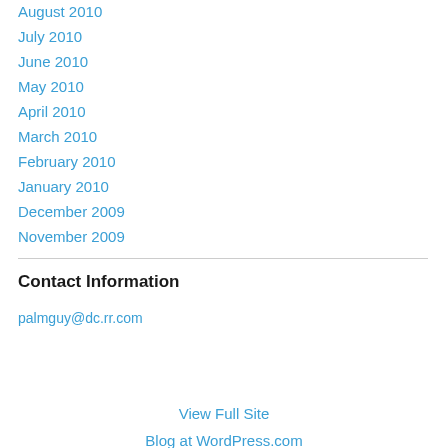August 2010
July 2010
June 2010
May 2010
April 2010
March 2010
February 2010
January 2010
December 2009
November 2009
Contact Information
palmguy@dc.rr.com
View Full Site
Blog at WordPress.com